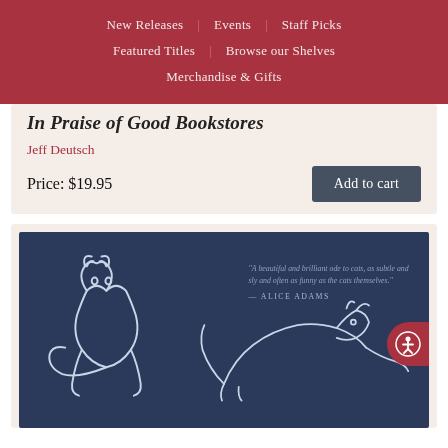New Releases | Events | Staff Picks | Featured Titles | Browse our Shelves | Merchandise & Gifts
In Praise of Good Bookstores
Jeff Deutsch
Price: $19.95
Add to cart
[Figure (illustration): Book cover on navy blue background with white line art of two cats. A pull quote reads: 'A beautiful and brilliant ode to cats, as subtle and sly and often as funny as the cats themselves.' — ALICE ADAMS]